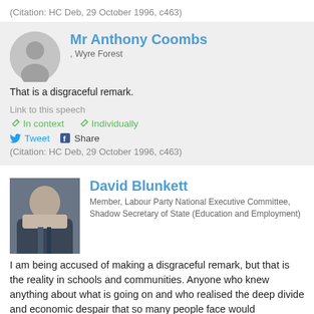(Citation: HC Deb, 29 October 1996, c463)
Mr Anthony Coombs
, Wyre Forest
That is a disgraceful remark.
Link to this speech
In context   Individually
Tweet   Share
(Citation: HC Deb, 29 October 1996, c463)
David Blunkett
Member, Labour Party National Executive Committee, Shadow Secretary of State (Education and Employment)
I am being accused of making a disgraceful remark, but that is the reality in schools and communities. Anyone who knew anything about what is going on and who realised the deep divide and economic despair that so many people face would understand exactly what I am